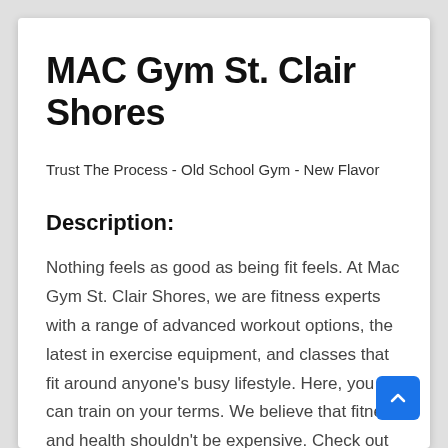MAC Gym St. Clair Shores
Trust The Process - Old School Gym - New Flavor
Description:
Nothing feels as good as being fit feels. At Mac Gym St. Clair Shores, we are fitness experts with a range of advanced workout options, the latest in exercise equipment, and classes that fit around anyone's busy lifestyle. Here, you can train on your terms. We believe that fitness and health shouldn't be expensive. Check out our multi-tier membership programs that give you control over how much you spend depending on your personal level of fitness goals and preferred level of